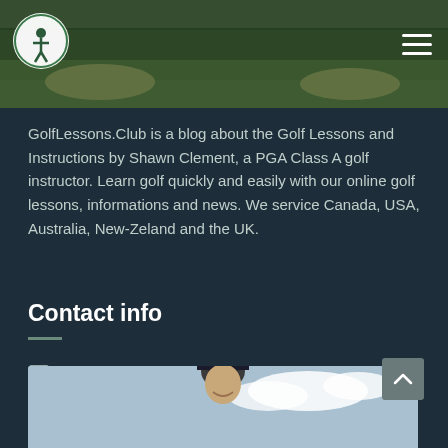[Figure (photo): Golf course banner photo showing a golf green with sand bunkers and pine trees in the background. A circular logo with a human figure is in the top left. A hamburger menu icon is in the top right.]
GolfLessons.Club is a blog about the Golf Lessons and Instructions by Shawn Clement, a PGA Class A golf instructor. Learn golf quickly and easily with our online golf lessons, informations and news. We service Canada, USA, Australia, New-Zeland and the UK.
Contact info
info@wisdomingolf.com
416-455-5576
[Figure (photo): Partial photo at the bottom showing a person wearing a dark cap smiling, outdoors against a blue sky with clouds.]